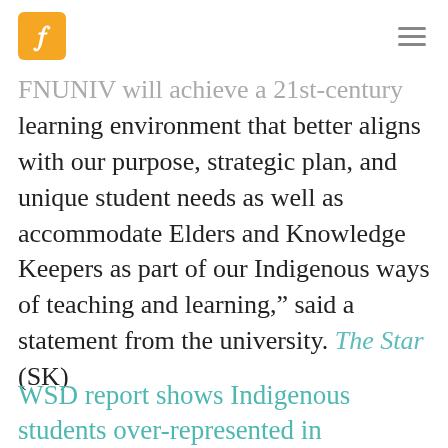[Logo: F icon] [Hamburger menu]
FNUNIV will achieve a 21st-century learning environment that better aligns with our purpose, strategic plan, and unique student needs as well as accommodate Elders and Knowledge Keepers as part of our Indigenous ways of teaching and learning," said a statement from the university. The Star (SK)
WSD report shows Indigenous students over-represented in